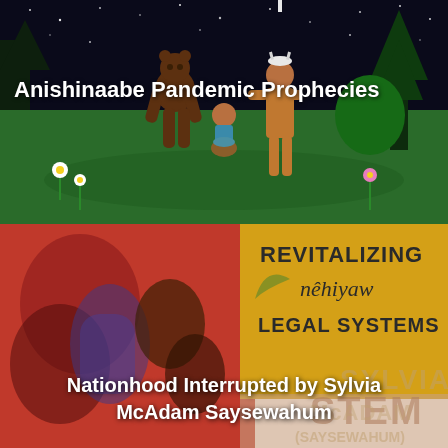[Figure (illustration): Animated illustration showing two Indigenous figures in a night scene with green landscape, trees, and flowers. One figure appears to be a bear-like character, the other a human figure with a feathered headdress. They are sharing or exchanging a basket of items.]
Anishinaabe Pandemic Prophecies
[Figure (photo): Book cover image for 'Revitalizing nêhiyaw Legal Systems' by Sylvia McAdam Saysewahum. Shows colorful Indigenous beadwork art on left side with red, blue and brown tones, and yellow/gold background with text on the right side.]
Nationhood Interrupted by Sylvia McAdam Saysewahum